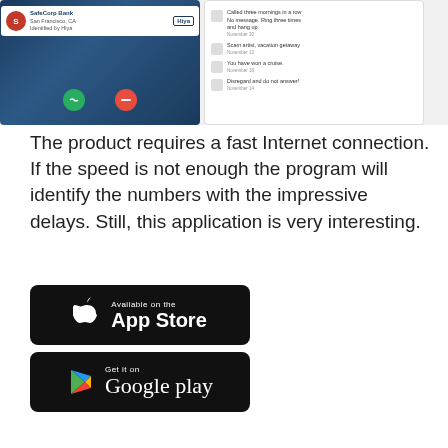[Figure (screenshot): Two smartphone screenshots: left shows an incoming call screen from SafeCorp Bank, San Francisco CA, identified by Hiya, with green answer and red decline buttons on a dark blue background. Right shows a spam call log list with entries: Called three mornings in a row No message. Ring three times and hang up. (November 30), Scam artist, vacation getaway (November 13), You have won a cruise (November 18), Disregard and do not answer! (November 14).]
The product requires a fast Internet connection. If the speed is not enough the program will identify the numbers with the impressive delays. Still, this application is very interesting.
[Figure (screenshot): App Store download badge - Available on the App Store]
[Figure (screenshot): Google Play download badge - Get it on Google play]